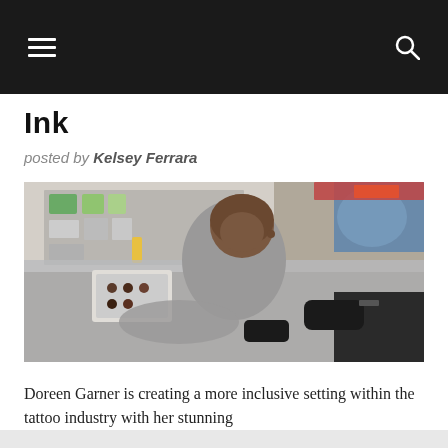Navigation bar with hamburger menu and search icon
Ink
posted by Kelsey Ferrara
[Figure (photo): A tattoo artist with a shaved head, wearing a grey top, leaning over a client on a tattoo table. A second person (the artist applying the tattoo) visible on the right wearing black gloves and glasses. Tattoo studio shelves and supplies visible in the background.]
Doreen Garner is creating a more inclusive setting within the tattoo industry with her stunning